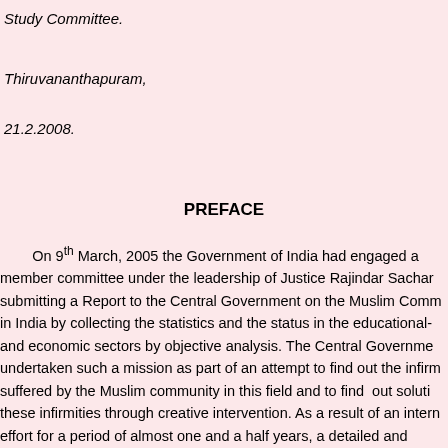Study Committee.
Thiruvananthapuram,
21.2.2008.
PREFACE
On 9th March, 2005 the Government of India had engaged a member committee under the leadership of Justice Rajindar Sachar submitting a Report to the Central Government on the Muslim Comm in India by collecting the statistics and the status in the educational- and economic sectors by objective analysis. The Central Governme undertaken such a mission as part of an attempt to find out the infirm suffered by the Muslim community in this field and to find out soluti these infirmities through creative intervention. As a result of an intern effort for a period of almost one and a half years, a detailed and